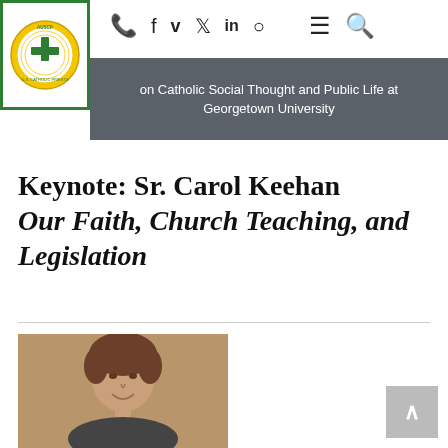[Figure (logo): AUSCP U.S. Catholic Priests organization logo with cross and circular design in green and gold]
on Catholic Social Thought and Public Life at Georgetown University
Keynote: Sr. Carol Keehan Our Faith, Church Teaching, and Legislation
[Figure (photo): Portrait photo of Sr. Carol Keehan, a woman with short brown hair, smiling]